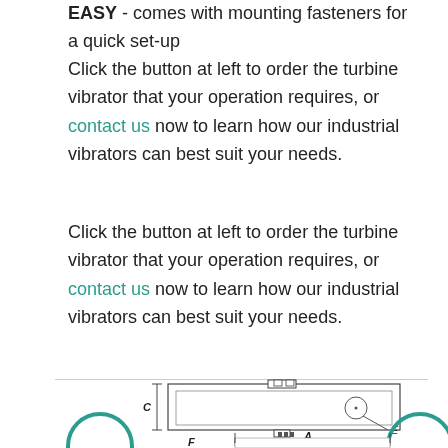EASY - comes with mounting fasteners for a quick set-up
Click the button at left to order the turbine vibrator that your operation requires, or contact us now to learn how our industrial vibrators can best suit your needs.
Click the button at left to order the turbine vibrator that your operation requires, or contact us now to learn how our industrial vibrators can best suit your needs.
[Figure (engineering-diagram): Technical engineering drawing of a turbine vibrator shown in two views: a side/top orthographic view with dimension labels C and E, and a front view partially shown with dimension labels A and F. The vibrator body is rectangular with a circular element on the right side, mounting feet at the bottom center, and mounting brackets visible in the lower view.]